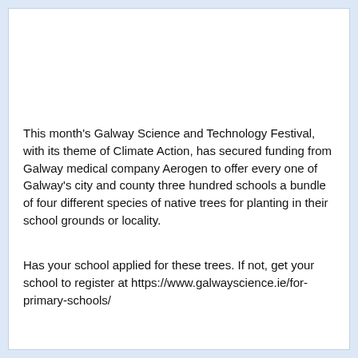This month's Galway Science and Technology Festival, with its theme of Climate Action, has secured funding from Galway medical company Aerogen to offer every one of Galway's city and county three hundred schools a bundle of four different species of native trees for planting in their school grounds or locality.
Has your school applied for these trees. If not, get your school to register at https://www.galwayscience.ie/for-primary-schools/